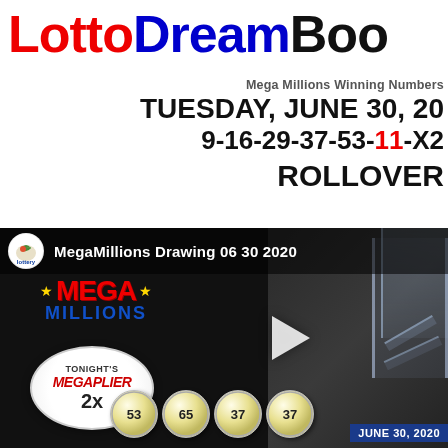[Figure (logo): LottoDreamBook logo with red 'Lotto', blue 'Dreame', black 'Boo' text, partially cut off on right]
Mega Millions Winning Numbers
TUESDAY, JUNE 30, 20
9-16-29-37-53-11-X2
ROLLOVER
[Figure (screenshot): YouTube-style video thumbnail for MegaMillions Drawing 06 30 2020, showing lottery machine with Mega Millions logo, Tonight's Megaplier 2x badge, lottery balls with numbers 53, 65, 37, 37 visible at bottom, JUNE 30, 2020 date badge at bottom right, play button in center]